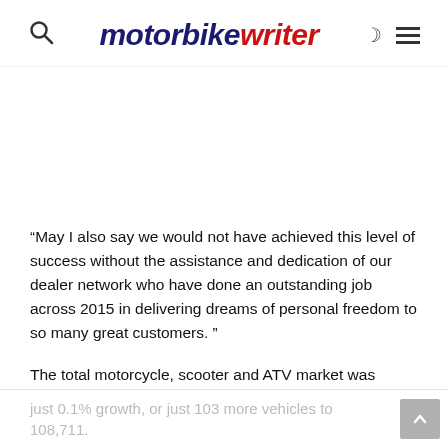motorbike writer
“May I also say we would not have achieved this level of success without the assistance and dedication of our dealer network who have done an outstanding job across 2015 in delivering dreams of personal freedom to so many great customers. ”
The total motorcycle, scooter and ATV market was steady at just 0.1% growth, or just 103 more vehicles to 108,711.